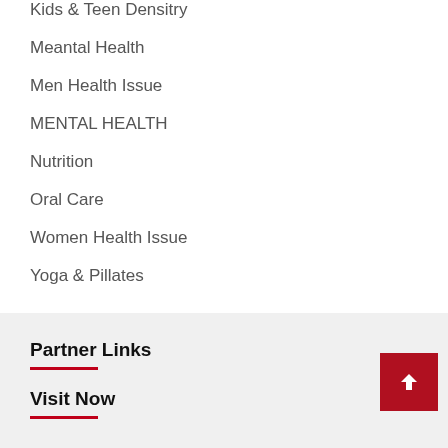Kids & Teen Densitry
Meantal Health
Men Health Issue
MENTAL HEALTH
Nutrition
Oral Care
Women Health Issue
Yoga & Pillates
Partner Links
Visit Now